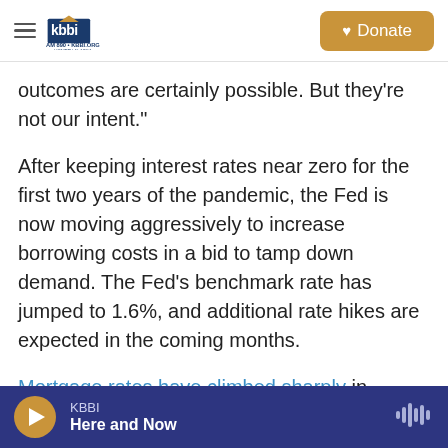KBBI AM 890 - Homer, Alaska | Donate
outcomes are certainly possible. But they're not our intent."
After keeping interest rates near zero for the first two years of the pandemic, the Fed is now moving aggressively to increase borrowing costs in a bid to tamp down demand. The Fed's benchmark rate has jumped to 1.6%, and additional rate hikes are expected in the coming months.
Mortgage rates have climbed sharply in anticipation of the Fed's moves, and that's beginning to weigh on both home sales and home
KBBI | Here and Now